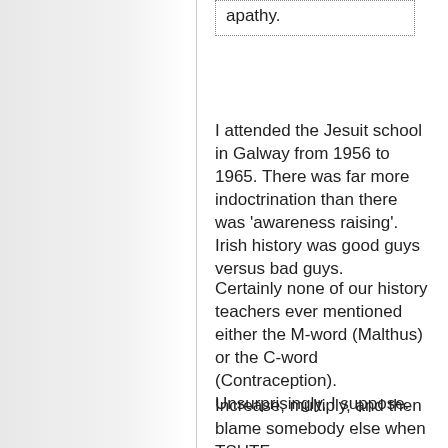apathy.
I attended the Jesuit school in Galway from 1956 to 1965. There was far more indoctrination than there was 'awareness raising'. Irish history was good guys versus bad guys.
Certainly none of our history teachers ever mentioned either the M-word (Malthus) or the C-word (Contraception). Unsurprisingly, I suppose.
Increase, multiply, and then blame somebody else when TSHTF.